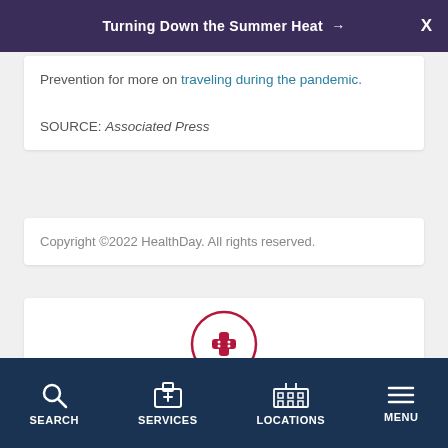Turning Down the Summer Heat →
Prevention for more on traveling during the pandemic.
SOURCE: Associated Press
Copyright ©2022 HealthDay. All rights reserved.
[Figure (illustration): Red circular icon with a bandage cross symbol for Find a Doctor]
Find a Doctor
SEARCH  SERVICES  LOCATIONS  MENU